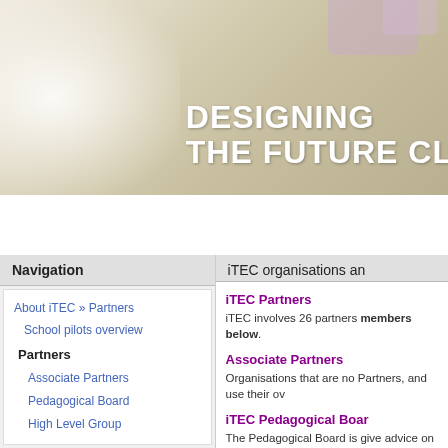[Figure (screenshot): iTEC website header banner with decorative pink/purple squares and gradient background showing 'DESIGNING THE FUTURE CL...' text in white bold letters]
DESIGNING THE FUTURE CL
HOME | ABOUT ITEC | RESULTS | NEWS | RESOURCES | COMMUN...
Navigation
iTEC organisations an...
About iTEC » Partners
School pilots overview
Partners
Associate Partners
Pedagogical Board
High Level Group
Related projects
Contact
iTEC Partners
iTEC involves 26 partners... members below.
Associate Partners
Organisations that are no... Partners, and use their ov...
iTEC Pedagogical Boar...
The Pedagogical Board is... give advice on the develo...
iTEC High Level Group